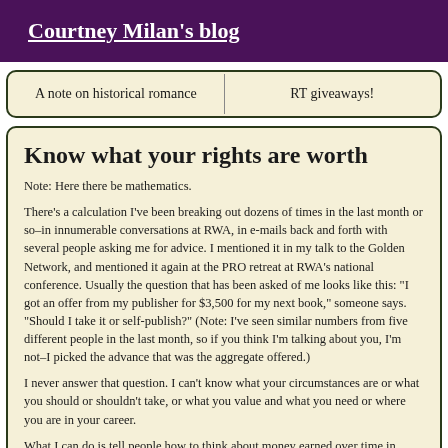Courtney Milan's blog
A note on historical romance
RT giveaways!
Know what your rights are worth
Note: Here there be mathematics.
There's a calculation I've been breaking out dozens of times in the last month or so–in innumerable conversations at RWA, in e-mails back and forth with several people asking me for advice. I mentioned it in my talk to the Golden Network, and mentioned it again at the PRO retreat at RWA's national conference. Usually the question that has been asked of me looks like this: "I got an offer from my publisher for $3,500 for my next book," someone says. "Should I take it or self-publish?" (Note: I've seen similar numbers from five different people in the last month, so if you think I'm talking about you, I'm not–I picked the advance that was the aggregate offered.)
I never answer that question. I can't know what your circumstances are or what you should or shouldn't take, or what you value and what you need or where you are in your career.
What I can do is tell people how to think about money earned over time in